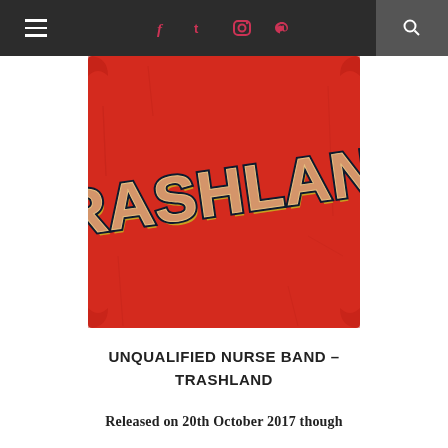≡  f  t  ☷  ⊕  🔍
[Figure (illustration): Album cover for 'Trashland' by Unqualified Nurse Band. Red distressed postcard-style background with large bold stylized text spelling 'TRASHLAND', letters filled with food/drink photography. Dark navy outline and gold shadow on letters.]
UNQUALIFIED NURSE BAND – TRASHLAND
Released on 20th October 2017 though